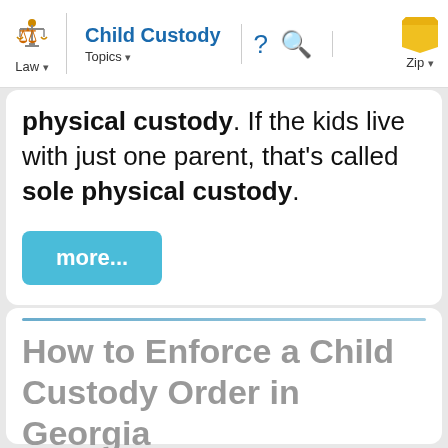Law | Child Custody | Topics | ? | Q | Zip
physical custody. If the kids live with just one parent, that's called sole physical custody.
[Figure (screenshot): A teal/blue rounded rectangle button labeled 'more...']
How to Enforce a Child Custody Order in Georgia